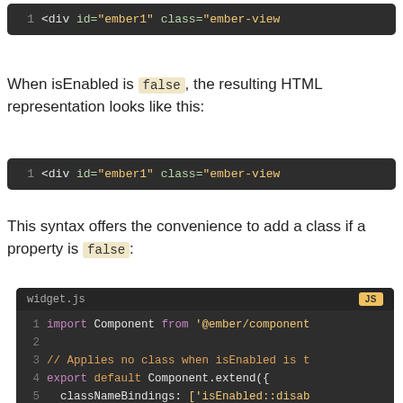[Figure (screenshot): Code block showing HTML: 1  <div id="ember1" class="ember-view" (truncated)]
When isEnabled is false, the resulting HTML representation looks like this:
[Figure (screenshot): Code block showing HTML: 1  <div id="ember1" class="ember-view" (truncated)]
This syntax offers the convenience to add a class if a property is false:
[Figure (screenshot): widget.js JS code block showing: import Component from '@ember/component'; // Applies no class when isEnabled is t; export default Component.extend({ classNameBindings: ['isEnabled::disab; isEnabled: true; });]